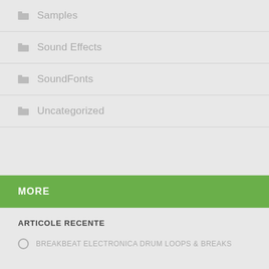Samples
Sound Effects
SoundFonts
Uncategorized
MORE
ARTICOLE RECENTE
BREAKBEAT ELECTRONICA DRUM LOOPS & BREAKS